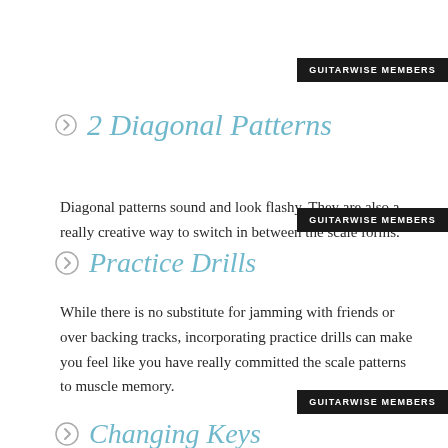GUITARWISE MEMBERS
2 Diagonal Patterns
Diagonal patterns sound and look flashy. They are also a really creative way to switch in between the scale forms.
GUITARWISE MEMBERS
Practice Drills
While there is no substitute for jamming with friends or over backing tracks, incorporating practice drills can make you feel like you have really committed the scale patterns to muscle memory.
GUITARWISE MEMBERS
Changing Keys